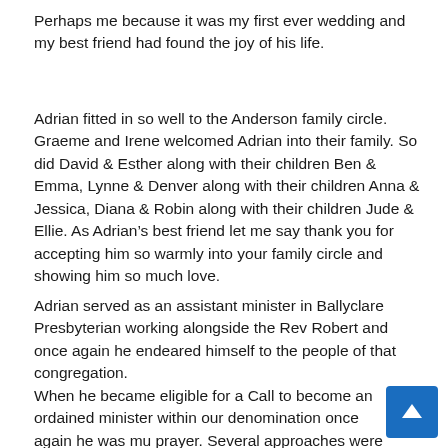Perhaps me because it was my first ever wedding and my best friend had found the joy of his life.
Adrian fitted in so well to the Anderson family circle. Graeme and Irene welcomed Adrian into their family. So did David & Esther along with their children Ben & Emma, Lynne & Denver along with their children Anna & Jessica, Diana & Robin along with their children Jude & Ellie. As Adrian’s best friend let me say thank you for accepting him so warmly into your family circle and showing him so much love.
Adrian served as an assistant minister in Ballyclare Presbyterian working alongside the Rev Robert and once again he endeared himself to the people of that congregation.
When he became eligible for a Call to become an ordained minister within our denomination once again he was mu prayer. Several approaches were made but he was